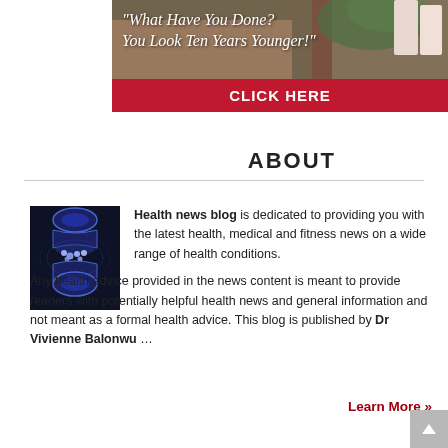[Figure (photo): Advertisement banner with text 'What Have You Done? You Look Ten Years Younger!' on a background with skin/leaves, and a red CLICK HERE button below]
ABOUT
[Figure (illustration): Medical illustration of a joint/bone cross-section with glowing particles, dark blue background]
Health news blog is dedicated to providing you with the latest health, medical and fitness news on a wide range of health conditions.

Any health advice provided in the news content is meant to provide readers with potentially helpful health news and general information and not meant as a formal health advice. This blog is published by Dr Vivienne Balonwu ...
Learn More »